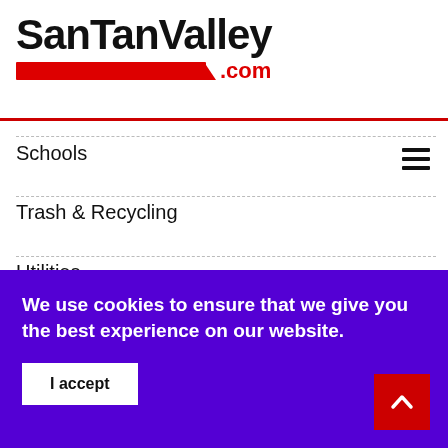SanTanValley.com
Schools
Trash & Recycling
Utilities
Volunteer Opportunities
Subscribe to Email Updates
We use cookies to ensure that we give you the best experience on our website.
I accept